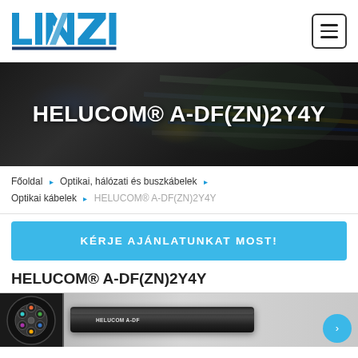[Figure (logo): LINZI company logo in blue with lightning bolt / diagonal slash design]
HELUCOM® A-DF(ZN)2Y4Y
Főoldal › Optikai, hálózati és buszkábelek › Optikai kábelek › HELUCOM® A-DF(ZN)2Y4Y
KÉRJE AJÁNLATUNKAT MOST!
HELUCOM® A-DF(ZN)2Y4Y
[Figure (photo): Fiber optic cable cross-section diagram (left, circular with colored fiber cores) and cable photo (right, labeled HELUCOM A-DF)]